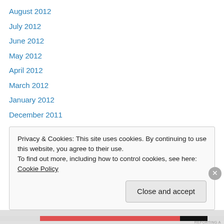August 2012
July 2012
June 2012
May 2012
April 2012
March 2012
January 2012
December 2011
November 2011
October 2011
September 2011
August 2011
July 2011
Privacy & Cookies: This site uses cookies. By continuing to use this website, you agree to their use.
To find out more, including how to control cookies, see here: Cookie Policy
Close and accept